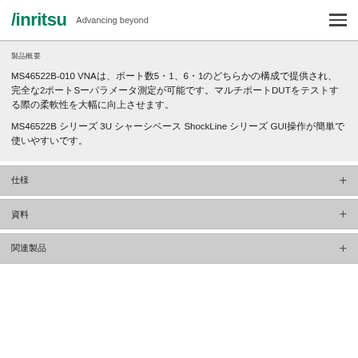Anritsu Advancing beyond
製品概要
MS46522B-010 VNAは、ポート数51、61のどちらかの構成で提供され、完全な2ポートS-パラメータ測定が可能です。マルチポートDUTをテストする際の柔軟性を大幅に向上させます。
MS46522B シリーズ 3U シャーシベース ShockLine シリーズ GUI操作が簡単で使いやすいです。
仕様
資料
関連製品